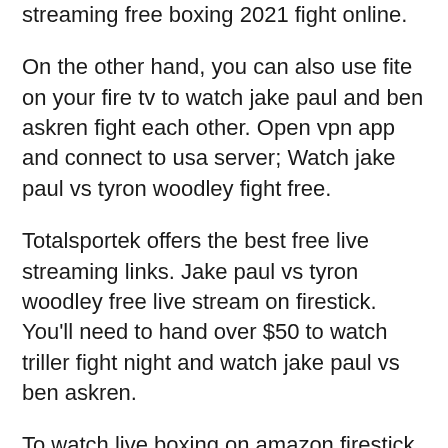streaming free boxing 2021 fight online.
On the other hand, you can also use fite on your fire tv to watch jake paul and ben askren fight each other. Open vpn app and connect to usa server; Watch jake paul vs tyron woodley fight free.
Totalsportek offers the best free live streaming links. Jake paul vs tyron woodley free live stream on firestick. You'll need to hand over $50 to watch triller fight night and watch jake paul vs ben askren.
To watch live boxing on amazon firestick for free, we suggest you these important android applications: Install vpn app on your device; Launch a browser on your firestick and try one of these sports streaming websites to watch the paul vs woodley fight for free.